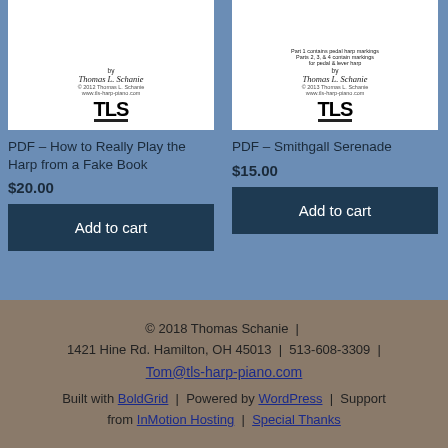[Figure (illustration): Book cover thumbnail for 'How to Really Play the Harp from a Fake Book' by Thomas L. Schanie with TLS logo]
PDF – How to Really Play the Harp from a Fake Book
$20.00
Add to cart
[Figure (illustration): Book cover thumbnail for 'Smithgall Serenade' by Thomas L. Schanie with TLS logo]
PDF – Smithgall Serenade
$15.00
Add to cart
© 2018 Thomas Schanie | 1421 Hine Rd. Hamilton, OH 45013 | 513-608-3309 | Tom@tls-harp-piano.com Built with BoldGrid | Powered by WordPress | Support from InMotion Hosting | Special Thanks